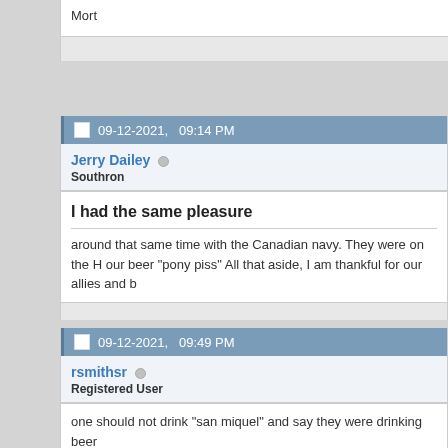Mort
09-12-2021,   09:14 PM
Jerry Dailey
Southron
I had the same pleasure
around that same time with the Canadian navy. They were on the H our beer "pony piss" All that aside, I am thankful for our allies and b
09-12-2021,   09:49 PM
rsmithsr
Registered User
one should not drink "san miquel" and say they were drinking beer